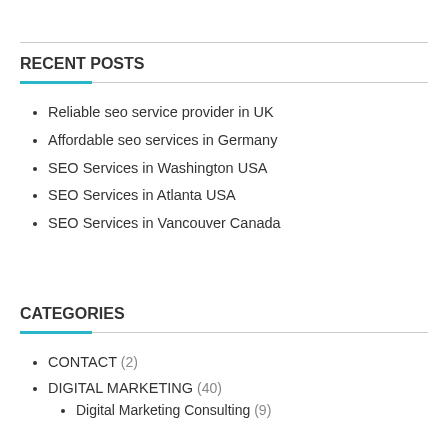RECENT POSTS
Reliable seo service provider in UK
Affordable seo services in Germany
SEO Services in Washington USA
SEO Services in Atlanta USA
SEO Services in Vancouver Canada
CATEGORIES
CONTACT (2)
DIGITAL MARKETING (40)
Digital Marketing Consulting (9)